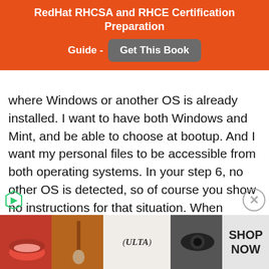RedHat RHCSA and RHCE Certification Preparation Guide - Get This Book
where Windows or another OS is already installed. I want to have both Windows and Mint, and be able to choose at bootup. And I want my personal files to be accessible from both operating systems. In your step 6, no other OS is detected, so of course you show no instructions for that situation. When “Something Else” is selected instead of the choice you made, the next screen is pretty
[Figure (other): ULTA beauty advertisement banner with makeup images including lips, brush, eye, and ULTA logo with SHOP NOW text]
SHOP NOW